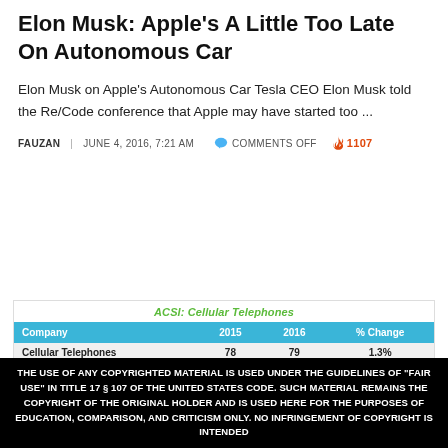Elon Musk: Apple's A Little Too Late On Autonomous Car
Elon Musk on Apple's Autonomous Car Tesla CEO Elon Musk told the Re/Code conference that Apple may have started too ...
FAUZAN | JUNE 4, 2016, 7:21 AM  💬 COMMENTS OFF 🔥 1107
| Company | 2015 | 2016 | % Change |
| --- | --- | --- | --- |
| Cellular Telephones | 78 | 79 | 1.3% |
| Apple | 80 | 81 | 1% |
| Samsung | 80 | 80 | 0% |
| Motorola (Lenovo) | 79 | 77 | -3% |
THE USE OF ANY COPYRIGHTED MATERIAL IS USED UNDER THE GUIDELINES OF "FAIR USE" IN TITLE 17 § 107 OF THE UNITED STATES CODE. SUCH MATERIAL REMAINS THE COPYRIGHT OF THE ORIGINAL HOLDER AND IS USED HERE FOR THE PURPOSES OF EDUCATION, COMPARISON, AND CRITICISM ONLY. NO INFRINGEMENT OF COPYRIGHT IS INTENDED